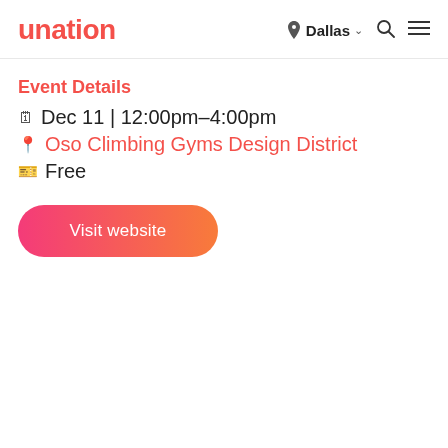unation | Dallas
Event Details
📅 Dec 11 | 12:00pm–4:00pm
📍 Oso Climbing Gyms Design District
🎟 Free
Visit website